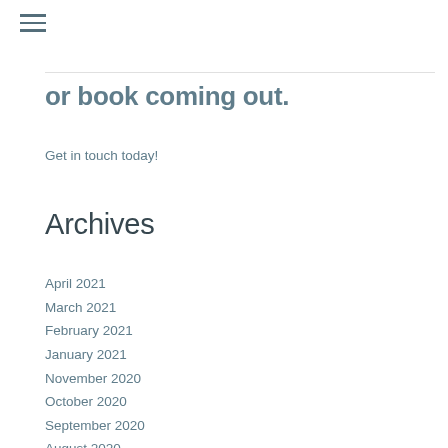≡
or book coming out.
Get in touch today!
Archives
April 2021
March 2021
February 2021
January 2021
November 2020
October 2020
September 2020
August 2020
July 2020
June 2020
May 2020
April 2020
March 2020